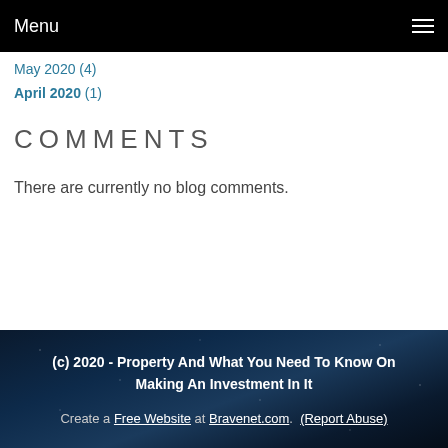Menu
May 2020 (4)
April 2020 (1)
COMMENTS
There are currently no blog comments.
(c) 2020 - Property And What You Need To Know On Making An Investment In It
Create a Free Website at Bravenet.com. (Report Abuse)